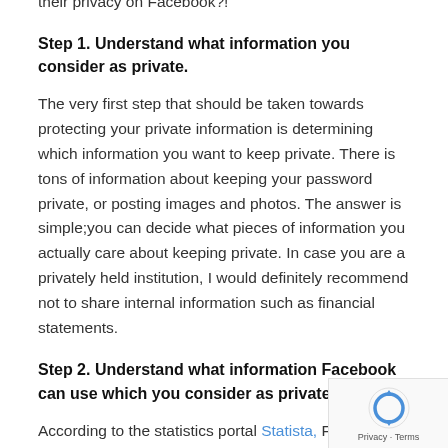their privacy on Facebook?!
Step 1. Understand what information you consider as private.
The very first step that should be taken towards protecting your private information is determining which information you want to keep private. There is tons of information about keeping your password private, or posting images and photos. The answer is simple;you can decide what pieces of information you actually care about keeping private. In case you are a privately held institution, I would definitely recommend not to share internal information such as financial statements.
Step 2. Understand what information Facebook can use which you consider as private
According to the statistics portal Statista, Facebook